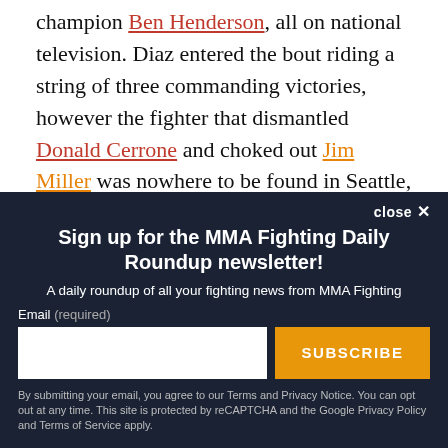champion Ben Henderson, all on national television. Diaz entered the bout riding a string of three commanding victories, however the fighter that dismantled Donald Cerrone and choked out Jim Miller was nowhere to be found in Seattle, and the one who took his place struggled mightily to find any sense of rhythm against Henderson's relentless pace.
[Figure (other): Newsletter signup overlay with dark navy background. Title: 'Sign up for the MMA Fighting Daily Roundup newsletter!'. Subtitle: 'A daily roundup of all your fighting news from MMA Fighting'. Email input field and SUBSCRIBE button. Close button top right. Privacy disclaimer at bottom.]